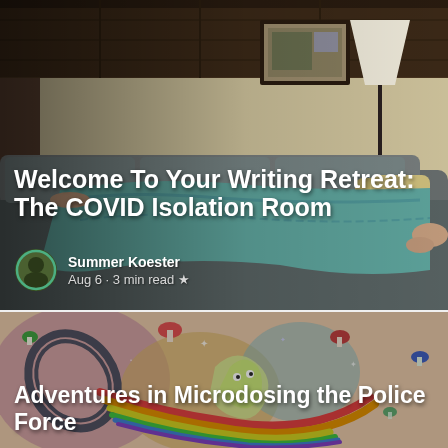[Figure (photo): Person lying face down on a grey sectional sofa covered with a teal/blue blanket. Room has wooden paneling, a framed picture on the wall, and a lamp in the background.]
Welcome To Your Writing Retreat: The COVID Isolation Room
Summer Koester
Aug 6 · 3 min read ★
[Figure (illustration): Colorful psychedelic illustration featuring a tilted coffee cup spilling rainbow liquid, surrounded by mushrooms, sparkles, and abstract colorful shapes on a beige/peach background.]
Adventures in Microdosing the Police Force